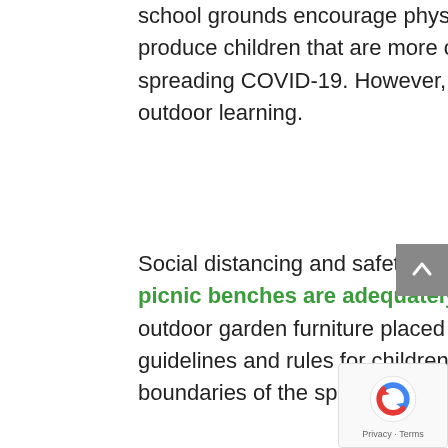school grounds encourage physical activity, increase awareness of nutrition, produce children that are more civil to each other, and reduce the risks of spreading COVID-19. However, you have to get your school grounds ready for outdoor learning.
Social distancing and safety are vital, so ensure tables, chairs, and children's picnic benches are adequately spaced apart. Ensure you use good quality outdoor garden furniture placed on solid ground. You should also set clear guidelines and rules for children covering behaviour, distancing, and the boundaries of the space, especially when they are not dictated by a physical